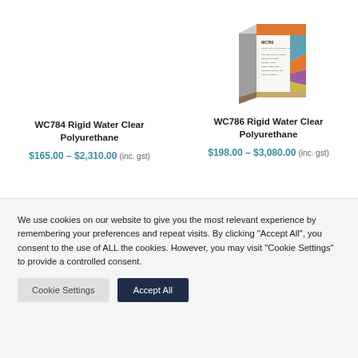[Figure (photo): Product box for WC786 Rigid Water Clear Polyurethane with colorful abstract design and orange/gray sides]
WC784 Rigid Water Clear Polyurethane
$165.00 – $2,310.00 (inc. gst)
WC786 Rigid Water Clear Polyurethane
$198.00 – $3,080.00 (inc. gst)
We use cookies on our website to give you the most relevant experience by remembering your preferences and repeat visits. By clicking "Accept All", you consent to the use of ALL the cookies. However, you may visit "Cookie Settings" to provide a controlled consent.